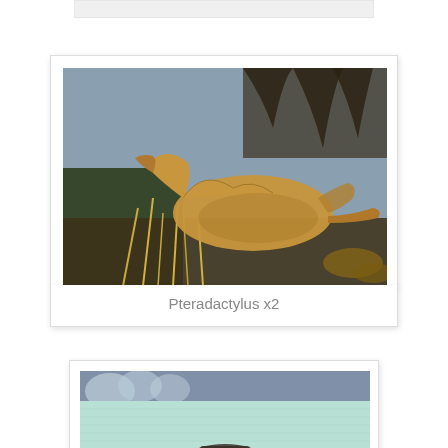[Figure (photo): Partial top edge of a photo card, showing a white rectangular card with light gray band]
[Figure (photo): Photo of a Pteradactylus dinosaur model/statue outdoors among dry grass and bare tree branches, golden-tan colored creature with wings visible]
Pteradactylus x2
[Figure (photo): Partial view of a second photo card showing a light blue/mint textured fabric or material with a dark object visible at the bottom, with bare winter trees in the background]